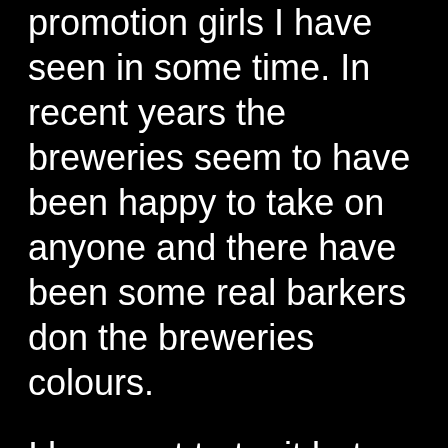promotion girls I have seen in some time. In recent years the breweries seem to have been happy to take on anyone and there have been some real barkers don the breweries colours.
I have yet to try it but the Halal buffet at the A One Hotel on the Beach Road in Pattaya sounds fantastic. 299 baht gets you all of this here.
What is it with middlemen and agents in Thailand? More and more often, I find that when you go to get something done, the person you are dealing with is not the person you should be dealing with, but someone who purports to know what they're doing who is merely a middleman making out they're there to help you when all they are doing is adding a percentage to the cost of the product or service while